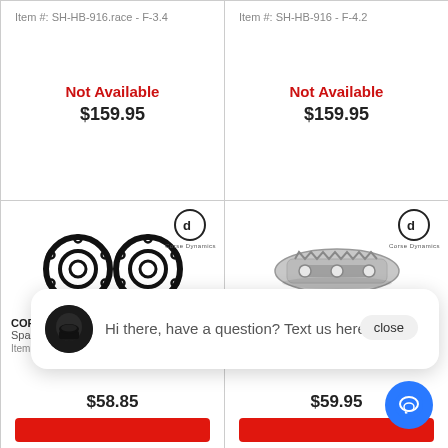Item #: SH-HB-916.race - F-3.4
Not Available
$159.95
Item #: SH-HB-916 - F-4.2
Not Available
$159.95
[Figure (photo): Two circular hub spacer rings (black) with bolt holes, Corse Dynamics branded]
CORSE DYNAMICS
Spacers: 5
Item #: SH-WS-916... - ...
$58.85
[Figure (photo): Silver metal brake caliper bracket/adapter, Corse Dynamics branded]
Item #: SH-SH - TOOLS
$59.95
Hi there, have a question? Text us here.